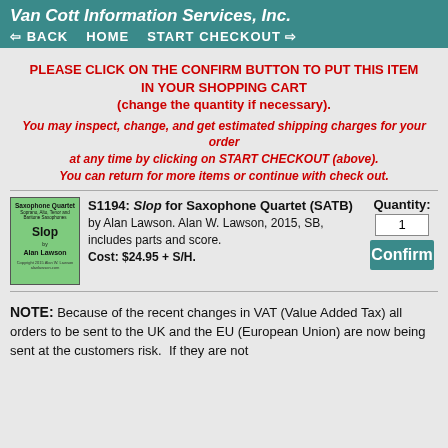Van Cott Information Services, Inc.
BACK   HOME   START CHECKOUT
PLEASE CLICK ON THE CONFIRM BUTTON TO PUT THIS ITEM IN YOUR SHOPPING CART (change the quantity if necessary).
You may inspect, change, and get estimated shipping charges for your order at any time by clicking on START CHECKOUT (above). You can return for more items or continue with check out.
[Figure (illustration): Green book cover for 'Slop' saxophone quartet by Alan Lawson]
S1194: Slop for Saxophone Quartet (SATB) by Alan Lawson. Alan W. Lawson, 2015, SB, includes parts and score. Cost: $24.95 + S/H.
Quantity: 1  Confirm
NOTE: Because of the recent changes in VAT (Value Added Tax) all orders to be sent to the UK and the EU (European Union) are now being sent at the customers risk. If they are not